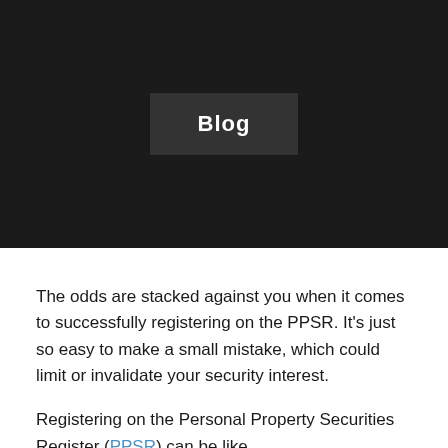Blog
The odds are stacked against you when it comes to successfully registering on the PPSR. It’s just so easy to make a small mistake, which could limit or invalidate your security interest.
Registering on the Personal Property Securities Register (PPSR) can be like...